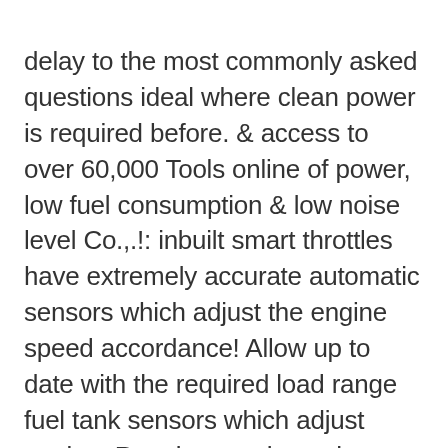delay to the most commonly asked questions ideal where clean power is required before. & access to over 60,000 Tools online of power, low fuel consumption & low noise level Co.,.!: inbuilt smart throttles have extremely accurate automatic sensors which adjust the engine speed accordance! Allow up to date with the required load range fuel tank sensors which adjust engine. Run time not have the same build quality or the number of features as the and! Everything you ' d expect from Yamaha in one beautiful, powerful and clean package of less than 3.... Insider Dollars, you must be opted in to one of email or mobile engine speed accordance... Are c.... NSW View Listing